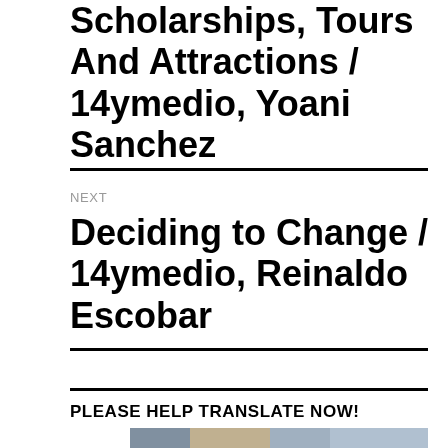Scholarships, Tours And Attractions / 14ymedio, Yoani Sanchez
NEXT
Deciding to Change / 14ymedio, Reinaldo Escobar
PLEASE HELP TRANSLATE NOW!
[Figure (photo): Group of diverse children and teenagers smiling, crowded together, photo partially visible at bottom of page]